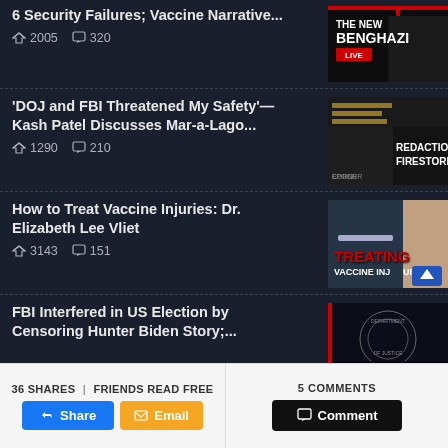6 Security Failures; Vaccine Narrative...
2005 shares  320 comments
[Figure (screenshot): Thumbnail image with text THE NEW BENGHAZI LIVE]
'DOJ and FBI Threatened My Safety'— Kash Patel Discusses Mar-a-Lago...
1290 shares  210 comments
[Figure (screenshot): Thumbnail with REDACTION FIRESTORM text over man in suit]
How to Treat Vaccine Injuries: Dr. Elizabeth Lee Vliet
3143 shares  151 comments
[Figure (screenshot): Thumbnail with TREATING VACCINE INJURY text over woman holding syringe]
FBI Interfered in US Election by Censoring Hunter Biden Story;...
[Figure (screenshot): Thumbnail with FBI x ELECTION text over Department of Justice seal]
36 SHARES | FRIENDS READ FREE
5 COMMENTS